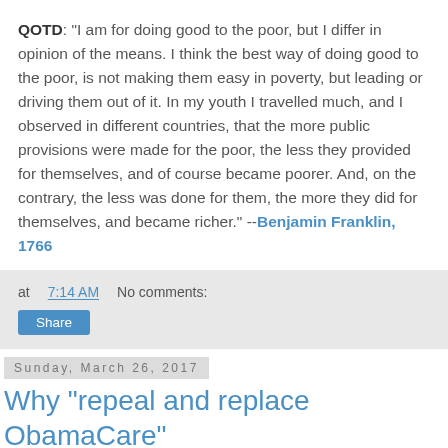QOTD: "I am for doing good to the poor, but I differ in opinion of the means. I think the best way of doing good to the poor, is not making them easy in poverty, but leading or driving them out of it. In my youth I travelled much, and I observed in different countries, that the more public provisions were made for the poor, the less they provided for themselves, and of course became poorer. And, on the contrary, the less was done for them, the more they did for themselves, and became richer." --Benjamin Franklin, 1766
at 7:14 AM   No comments:
Share
Sunday, March 26, 2017
Why "repeal and replace ObamaCare" has always been a scam